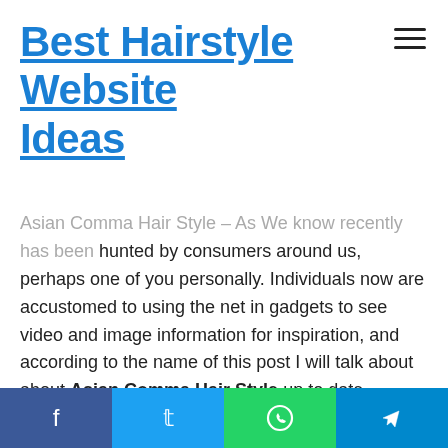Best Hairstyle Website Ideas
Asian Comma Hair Style – As We know recently has been hunted by consumers around us, perhaps one of you personally. Individuals now are accustomed to using the net in gadgets to see video and image information for inspiration, and according to the name of this post I will talk about about Asian Comma Hair Style up to date.
If you are searching for Asian Comma Hair Style up to date you've come to the ideal place. We have 14 images about asian comma hair style adding images, photos, photographs, backgrounds, and much more. In these page, we also have number of graphics out there. Such as png, jpg, animated gifs,